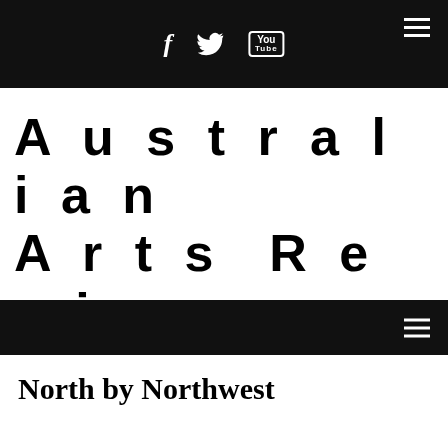Australian Arts Review — social links and navigation bar
Australian Arts Review
Navigation bar
North by Northwest